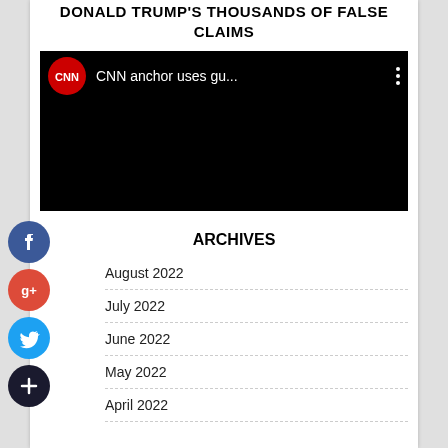DONALD TRUMP'S THOUSANDS OF FALSE CLAIMS
[Figure (screenshot): CNN video thumbnail showing CNN logo and title 'CNN anchor uses gu...' with three vertical dots menu icon, on a dark/black background]
ARCHIVES
August 2022
July 2022
June 2022
May 2022
April 2022